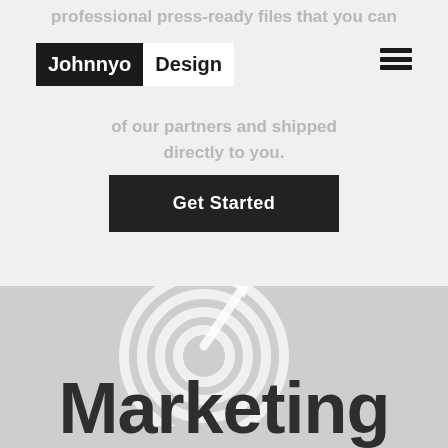Johnnyo Design
professional press-ready files that you can take to your choice or have us print at one of our partners and shipped directly to you.
Get Started
[Figure (illustration): Target/bullseye icon with arrow, light gray on gray background]
Marketing